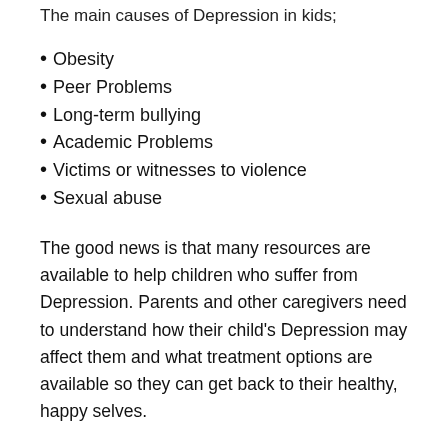The main causes of Depression in kids;
Obesity
Peer Problems
Long-term bullying
Academic Problems
Victims or witnesses to violence
Sexual abuse
The good news is that many resources are available to help children who suffer from Depression. Parents and other caregivers need to understand how their child's Depression may affect them and what treatment options are available so they can get back to their healthy, happy selves.
How does Depression affect childhood development?